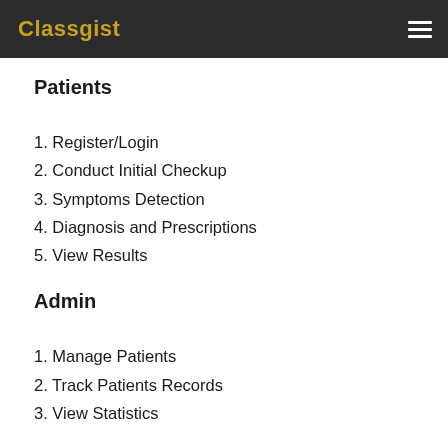Classgist
Patients
1. Register/Login
2. Conduct Initial Checkup
3. Symptoms Detection
4. Diagnosis and Prescriptions
5. View Results
Admin
1. Manage Patients
2. Track Patients Records
3. View Statistics